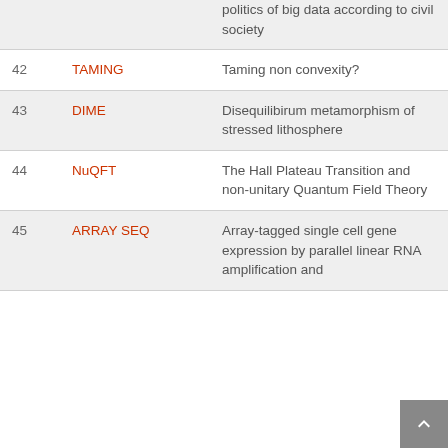| # | Abbreviation | Title |
| --- | --- | --- |
|  |  | politics of big data according to civil society |
| 42 | TAMING | Taming non convexity? |
| 43 | DIME | Disequilibirum metamorphism of stressed lithosphere |
| 44 | NuQFT | The Hall Plateau Transition and non-unitary Quantum Field Theory |
| 45 | ARRAY SEQ | Array-tagged single cell gene expression by parallel linear RNA amplification and |